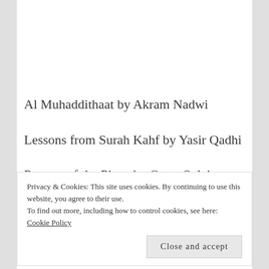Al Muhaddithaat by Akram Nadwi
Lessons from Surah Kahf by Yasir Qadhi
Prayers of the Pious by Omar Suleiman
Love and Happiness by Yasmin Mogahed
Privacy & Cookies: This site uses cookies. By continuing to use this website, you agree to their use.
To find out more, including how to control cookies, see here: Cookie Policy
Close and accept
Lots of these books are also available on scribd and you